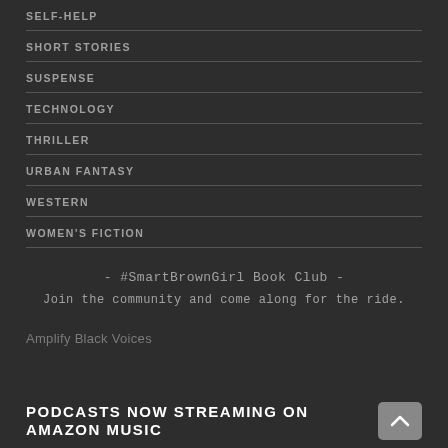SELF-HELP
SHORT STORIES
SUSPENSE
TECHNOLOGY
THRILLER
URBAN FANTASY
WESTERN
WOMEN'S FICTION
- #SmartBrownGirl Book Club -
Join the community and come along for the ride.
Amplify Black Voices
PODCASTS NOW STREAMING ON AMAZON MUSIC